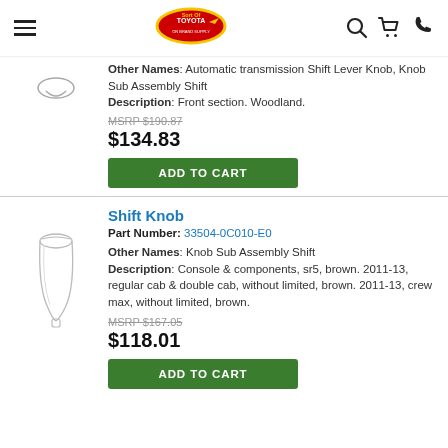Sort Of Toyota — navigation header with hamburger menu, logo, search, cart, phone icons
Other Names: Automatic transmission Shift Lever Knob, Knob Sub Assembly Shift
Description: Front section. Woodland.
MSRP $190.87
$134.83
ADD TO CART
Shift Knob
Part Number: 33504-0C010-E0
Other Names: Knob Sub Assembly Shift
Description: Console & components, sr5, brown. 2011-13, regular cab & double cab, without limited, brown. 2011-13, crew max, without limited, brown.
MSRP $167.05
$118.01
ADD TO CART